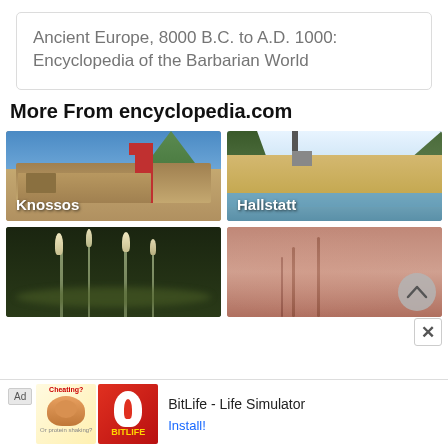Ancient Europe, 8000 B.C. to A.D. 1000: Encyclopedia of the Barbarian World
More From encyclopedia.com
[Figure (photo): Photo of Knossos ruins with red column structure and ancient stone remains under blue sky]
[Figure (photo): Photo of Hallstatt village with church steeple reflected in a lake, surrounded by mountains]
[Figure (photo): Dark photo of plant stems/reeds with light-colored tips against dark background]
[Figure (photo): Close-up photo of biological/anatomical tissue with veining patterns, with back-to-top circular button overlay]
BitLife - Life Simulator
Install!